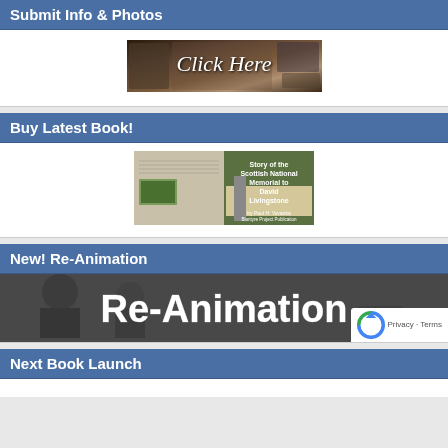Submit Info & Photos
[Figure (illustration): Click Here banner with vintage photos background showing text 'Click Here' in italic style]
Buy Latest Book!
[Figure (photo): Book cover: Story of the Scottish National Memorial to David Livingstone, by Paul H. Yovanka, Blantyre Project Publication]
New! Re-Animation
[Figure (illustration): Re-Animation banner with black and white vintage family photo background and large white text 'Re-Animation']
Next Book Launch